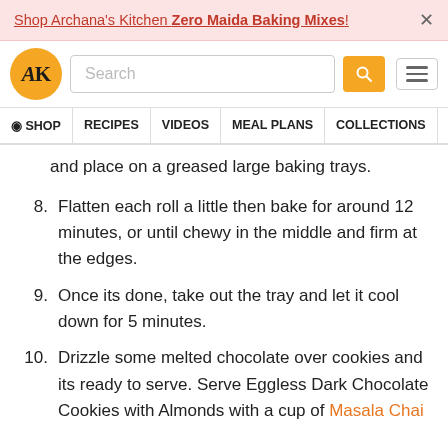Shop Archana's Kitchen Zero Maida Baking Mixes!
[Figure (logo): AK logo orange circle with AK text]
and place on a greased large baking trays.
8. Flatten each roll a little then bake for around 12 minutes, or until chewy in the middle and firm at the edges.
9. Once its done, take out the tray and let it cool down for 5 minutes.
10. Drizzle some melted chocolate over cookies and its ready to serve. Serve Eggless Dark Chocolate Cookies with Almonds with a cup of Masala Chai